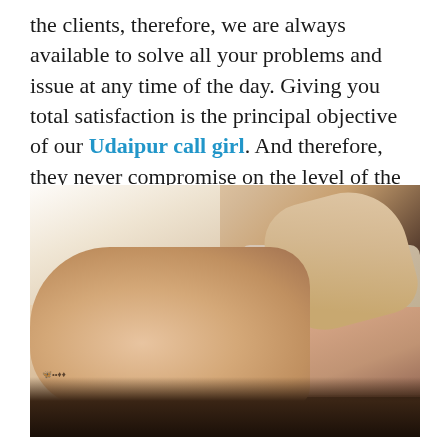the clients, therefore, we are always available to solve all your problems and issue at any time of the day. Giving you total satisfaction is the principal objective of our Udaipur call girl. And therefore, they never compromise on the level of the services.
[Figure (photo): A person lying on a bed in a dimly lit room with warm natural light from a window in the background.]